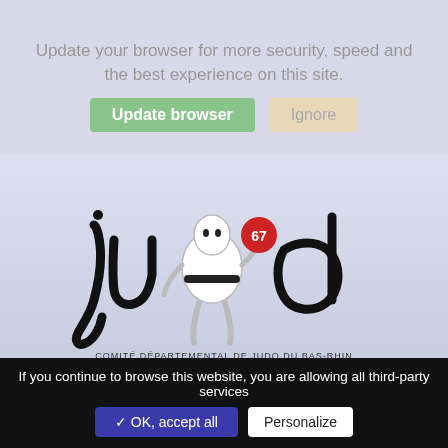Update your browser for more security, speed and the best experience on this site.
Update browser   Ignore
[Figure (logo): Judo 67 logo — stylized handwritten 'judo' text with a cartoon judoka figure wearing a red badge reading '67', and subtitle text 'COMITÉ DÉPARTEMENTAL DE JUDO DU BAS-RHIN']
COMITÉ JUDO 67
If you continue to browse this website, you are allowing all third-party services
✓ OK, accept all   Personalize